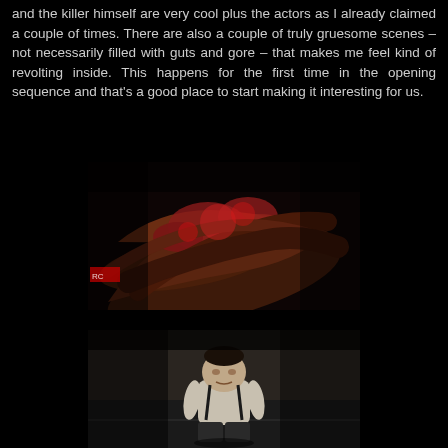and the killer himself are very cool plus the actors as I already claimed a couple of times. There are also a couple of truly gruesome scenes – not necessarily filled with guts and gore – that makes me feel kind of revolting inside. This happens for the first time in the opening sequence and that's a good place to start making it interesting for us.
[Figure (photo): A dark, gory image showing what appears to be a creature or monster with red and dark organic textures, intestine-like shapes in deep reds and browns on a dark background.]
[Figure (photo): A dark image showing a short, heavyset figure in a white shirt with suspenders, standing in a dimly lit environment. The figure appears to be a character from a horror film.]